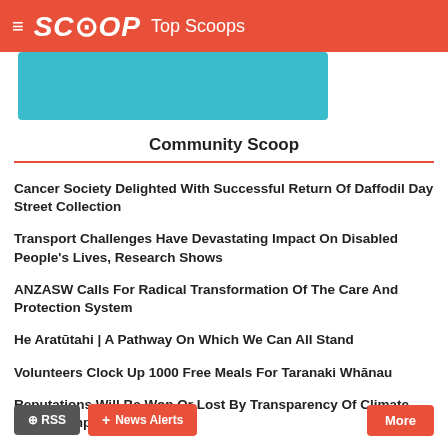SCOOP Top Scoops
Community Scoop
Cancer Society Delighted With Successful Return Of Daffodil Day Street Collection
Transport Challenges Have Devastating Impact On Disabled People's Lives, Research Shows
ANZASW Calls For Radical Transformation Of The Care And Protection System
He Aratūtahi | A Pathway On Which We Can All Stand
Volunteers Clock Up 1000 Free Meals For Taranaki Whānau
Reputations Will Be Won Or Lost By Transparency Of Climate Change Impacts
Carvings Complete Whakaoriori Marae
RSS   News Alerts   More